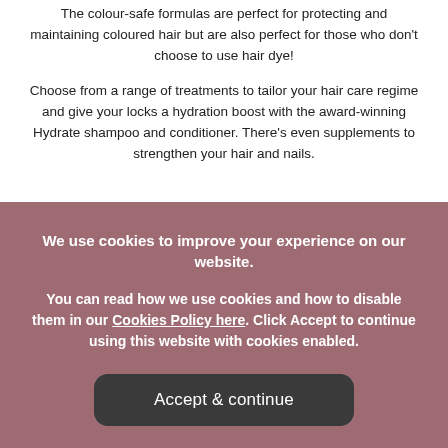The colour-safe formulas are perfect for protecting and maintaining coloured hair but are also perfect for those who don't choose to use hair dye!
Choose from a range of treatments to tailor your hair care regime and give your locks a hydration boost with the award-winning Hydrate shampoo and conditioner. There's even supplements to strengthen your hair and nails.
We use cookies to improve your experience on our website.
You can read how we use cookies and how to disable them in our Cookies Policy here. Click Accept to continue using this website with cookies enabled.
Accept & continue